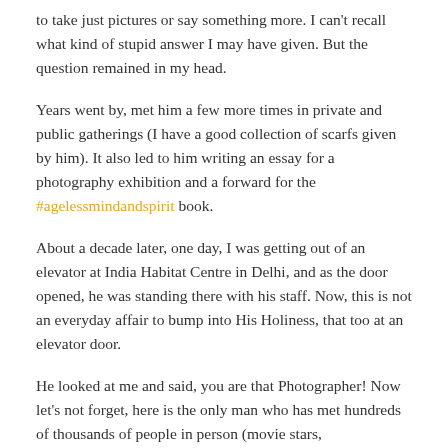to take just pictures or say something more. I can't recall what kind of stupid answer I may have given. But the question remained in my head.
Years went by, met him a few more times in private and public gatherings (I have a good collection of scarfs given by him). It also led to him writing an essay for a photography exhibition and a forward for the #agelessmindandspirit book.
About a decade later, one day, I was getting out of an elevator at India Habitat Centre in Delhi, and as the door opened, he was standing there with his staff. Now, this is not an everyday affair to bump into His Holiness, that too at an elevator door.
He looked at me and said, you are that Photographer! Now let's not forget, here is the only man who has met hundreds of thousands of people in person (movie stars, presidents/public figures fade away with time), and I was